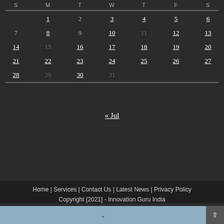| S | M | T | W | T | F | S |
| --- | --- | --- | --- | --- | --- | --- |
|  | 1 | 2 | 3 | 4 | 5 | 6 |
| 7 | 8 | 9 | 10 | 11 | 12 | 13 |
| 14 | 15 | 16 | 17 | 18 | 19 | 20 |
| 21 | 22 | 23 | 24 | 25 | 26 | 27 |
| 28 | 29 | 30 | 31 |  |  |  |
« Jul
Home | Services | Contact Us | Latest News | Privacy Policy
Copyright [2021] - Innovation Guru India